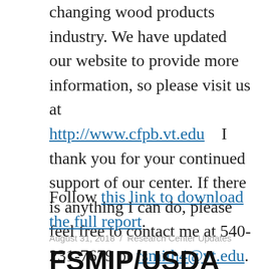changing wood products industry. We have updated our website to provide more information, so please visit us at http://www.cfpb.vt.edu    I thank you for your continued support of our center. If there is anything I can do, please feel free to contact me at 540-231-7679 or rsmith4@vt.edu.
Follow this link to download the full report.
August 31, 2018 / Research Center Updates
FSMIP/USDA project report on wooden social